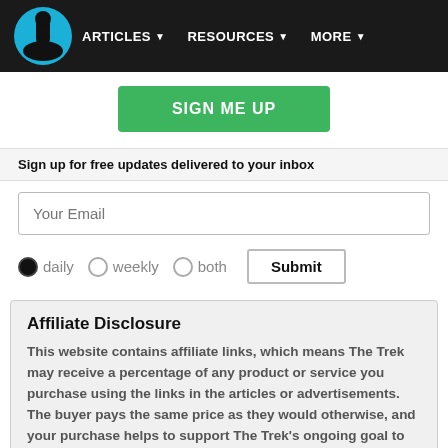ARTICLES  RESOURCES  MORE
SIGN ME UP
Sign up for free updates delivered to your inbox
Your Email
daily  weekly  both  Submit
Affiliate Disclosure
This website contains affiliate links, which means The Trek may receive a percentage of any product or service you purchase using the links in the articles or advertisements. The buyer pays the same price as they would otherwise, and your purchase helps to support The Trek's ongoing goal to serve you quality backpacking advice and information. Thanks for your support!